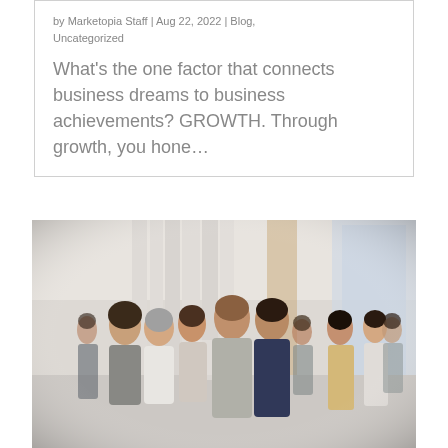by Marketopia Staff | Aug 22, 2022 | Blog, Uncategorized
What’s the one factor that connects business dreams to business achievements? GROWTH. Through growth, you hone…
[Figure (photo): Group of business professionals networking and talking in a bright conference or event venue. Several people are standing in small groups having conversations, some holding papers or cups.]